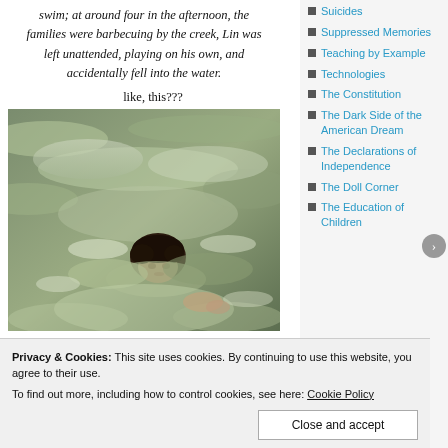swim; at around four in the afternoon, the families were barbecuing by the creek, Lin was left unattended, playing on his own, and accidentally fell into the water.
like, this???
[Figure (photo): A child struggling in turbulent water, head barely above the fast-moving creek surface.]
Suicides
Suppressed Memories
Teaching by Example
Technologies
The Constitution
The Dark Side of the American Dream
The Declarations of Independence
The Doll Corner
The Education of Children
Privacy & Cookies: This site uses cookies. By continuing to use this website, you agree to their use. To find out more, including how to control cookies, see here: Cookie Policy
Close and accept